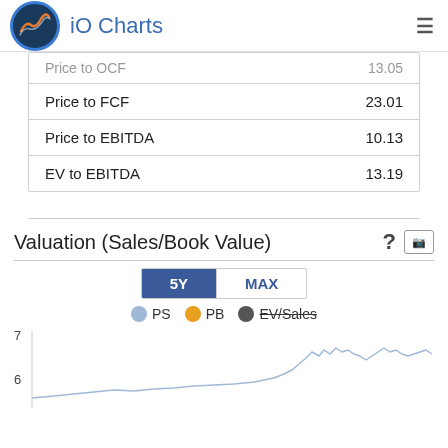iO Charts
| Metric | Value |
| --- | --- |
| Price to OCF | 13.05 |
| Price to FCF | 23.01 |
| Price to EBITDA | 10.13 |
| EV to EBITDA | 13.19 |
Valuation (Sales/Book Value)
[Figure (line-chart): Line chart showing PS, PB, and EV/Sales valuation metrics over 5Y and MAX time periods. Y-axis shows values from 6 to 7. The PS line (light blue) trends upward sharply at the right end.]